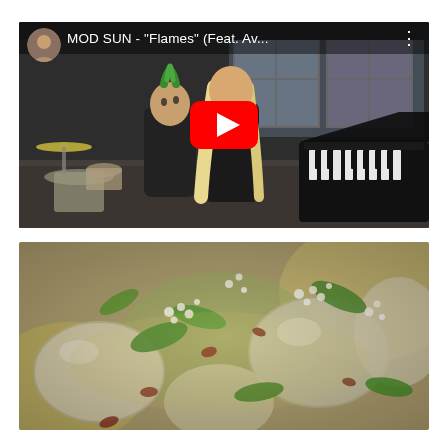[Figure (screenshot): YouTube video thumbnail for MOD SUN - 'Flames' (Feat. Av...) showing two musicians sitting back-to-back, one with a green mohawk in a dark jacket, the other with long blonde hair, in an industrial space with a piano and drum kit. A red YouTube play button is overlaid in the center. A circular avatar photo is in the top-left and the video title appears in the top bar.]
[Figure (photo): Close-up food photo of a salad featuring sliced pears or similar pale fruit, green leafy greens, crumbled white cheese (feta), and what appears to be dried fruit or bacon pieces, glistening with dressing.]